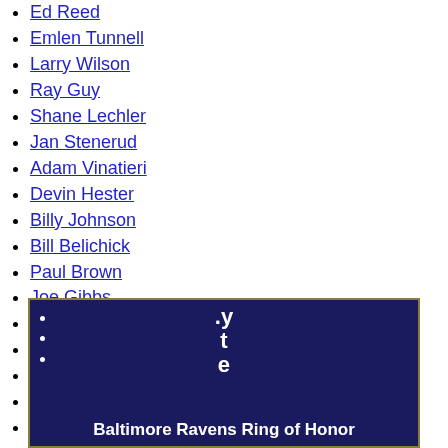Ed Reed
Emlen Tunnell
Larry Wilson
Ray Guy
Shane Lechler
Jan Stenerud
Adam Vinatieri
Devin Hester
Billy Johnson
Bill Belichick
Paul Brown
Joe Gibbs
George Halas
Curly Lambeau
Tom Landry
Vince Lombardi
Chuck Noll
Don Shula
Bill Walsh
[Figure (other): Baltimore Ravens Ring of Honor dark blue banner with bullet list items and partial text including .yte characters visible, title reads Baltimore Ravens Ring of Honor]